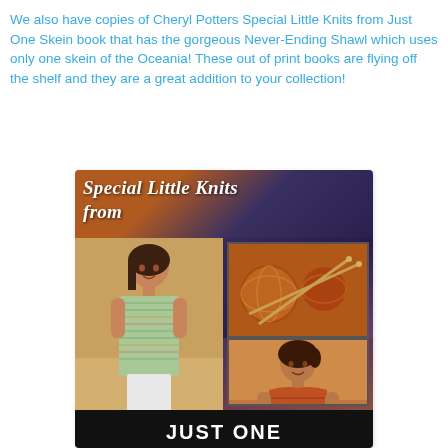We also have copies of Cheryl Potters Special Little Knits from Just One Skein book that has the gorgeous Never-Ending Shawl which uses only one skein of the Oceania! These out of print books are flying off the shelf and they are a great addition to your collection!
[Figure (photo): Book cover of 'Special Little Knits from Just One Skein' featuring two women wearing knitted tops and inset photos of yarn and knitting needles, with the title in white italic text and 'JUST ONE' at the bottom in bold white letters.]